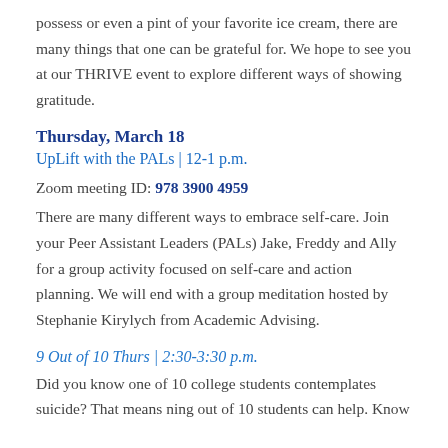possess or even a pint of your favorite ice cream, there are many things that one can be grateful for. We hope to see you at our THRIVE event to explore different ways of showing gratitude.
Thursday, March 18
UpLift with the PALs | 12-1 p.m.
Zoom meeting ID: 978 3900 4959
There are many different ways to embrace self-care. Join your Peer Assistant Leaders (PALs) Jake, Freddy and Ally for a group activity focused on self-care and action planning. We will end with a group meditation hosted by Stephanie Kirylych from Academic Advising.
9 Out of 10 Thurs | 2:30-3:30 p.m.
Did you know one of 10 college students contemplates suicide? That means ning out of 10 students can help. Know